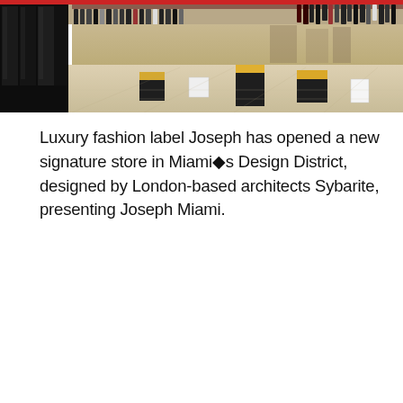[Figure (photo): Interior of Joseph luxury fashion store in Miami Design District showing a bright, modern retail space with dark mirror panels on the left, clothing racks along the top, and geometric display pedestals with black and gold finishes on a light stone floor.]
Luxury fashion label Joseph has opened a new signature store in Miami�s Design District, designed by London-based architects Sybarite, presenting Joseph Miami.